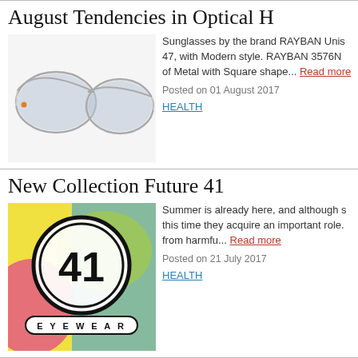August Tendencies in Optical H
[Figure (photo): Stylish silver/white cat-eye sunglasses by RAYBAN on white background]
Sunglasses by the brand RAYBAN Unisex 47, with Modern style. RAYBAN 3576N of Metal with Square shape... Read more
Posted on 01 August 2017
HEALTH
New Collection Future 41
[Figure (photo): Future 41 Eyewear logo on colorful background with number 41 in circle]
Summer is already here, and although s this time they acquire an important role. from harmfu... Read more
Posted on 21 July 2017
HEALTH